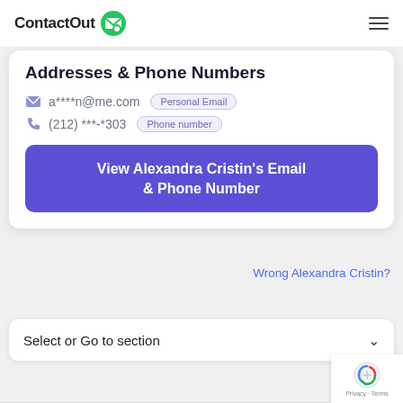ContactOut
Addresses & Phone Numbers
a****n@me.com  Personal Email
(212) ***-*303  Phone number
View Alexandra Cristin's Email & Phone Number
Wrong Alexandra Cristin?
Select or Go to section